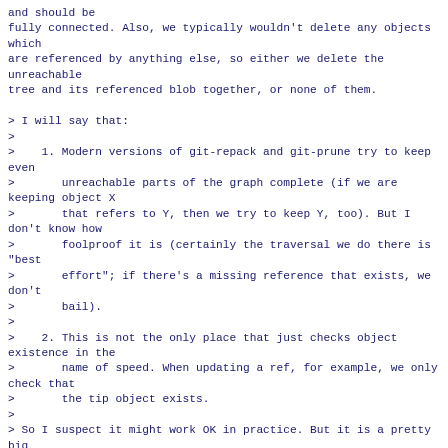and should be
fully connected. Also, we typically wouldn't delete any objects which
are referenced by anything else, so either we delete the unreachable
tree and its referenced blob together, or none of them.

> I will say that:
>
>    1. Modern versions of git-repack and git-prune try to keep even
>       unreachable parts of the graph complete (if we are keeping object X
>       that refers to Y, then we try to keep Y, too). But I don't know how
>       foolproof it is (certainly the traversal we do there is "best
>       effort"; if there's a missing reference that exists, we don't
>       bail).
>
>    2. This is not the only place that just checks object existence in the
>       name of speed. When updating a ref, for example, we only check that
>       the tip object exists.
>
> So I suspect it might work OK in practice. But it is a pretty big
> loosening of the current rules for pushes, and that